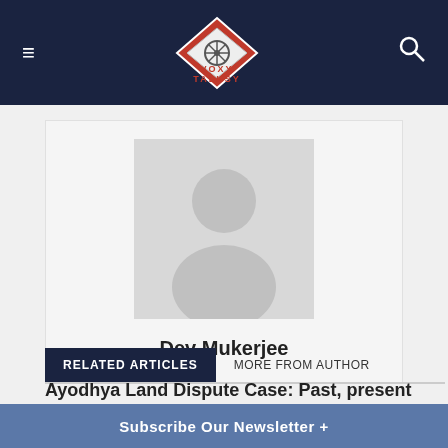VOXY TALKSY
[Figure (illustration): Default avatar placeholder — grey silhouette of a person on light grey background]
Dev Mukerjee
RELATED ARTICLES | MORE FROM AUTHOR
Ayodhya Land Dispute Case: Past, present and future!
BIG STORIES
Subscribe Our Newsletter +